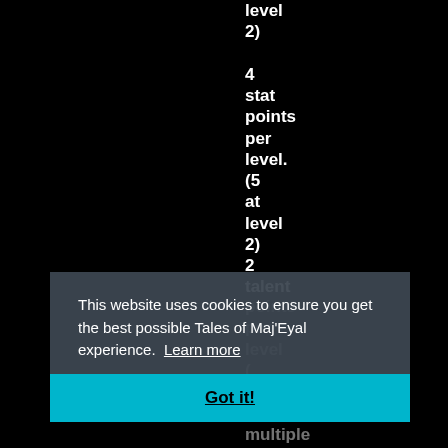level 2)

4 stat points per level. (5 at level 2) 2 talent
points per level ( if a multiple of
This website uses cookies to ensure you get the best possible Tales of Maj'Eyal experience. Learn more
Got it!